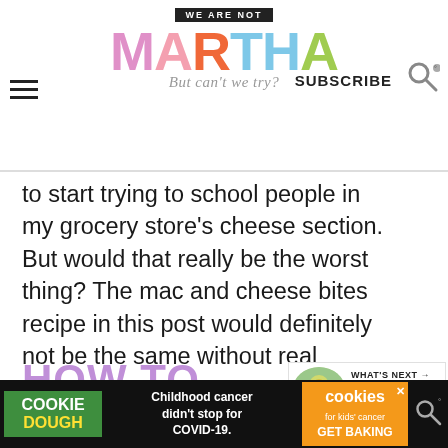WE ARE NOT MARTHA — But can't we try? | SUBSCRIBE
to start trying to school people in my grocery store's cheese section. But would that really be the worst thing? The mac and cheese bites recipe in this post would definitely not be the same without real Parmesan Reggiano!
HOW TO TELL IF
PARMESAN CHEESE
[Figure (screenshot): WHAT'S NEXT arrow label with thumbnail image of Roasted Garlic Mac and... next article preview]
[Figure (screenshot): Cookie Dough ad bar: Childhood cancer didn't stop for COVID-19. Cookies for kids cancer GET BAKING. Close button X. Right side search icon.]